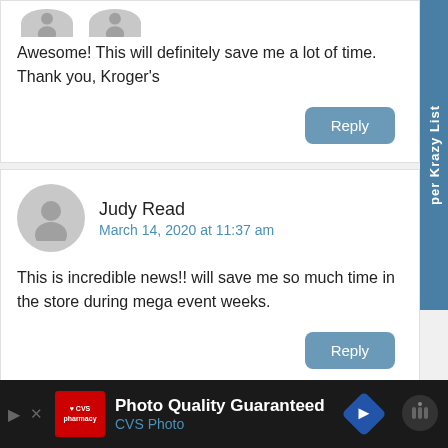Awesome! This will definitely save me a lot of time. Thank you, Kroger's
Reply
Judy Read
March 14, 2020 at 11:37 am
This is incredible news!! will save me so much time in the store during mega event weeks.
Reply
[Figure (screenshot): CVS Photo advertisement banner at the bottom of a webpage comment section. Shows CVS pharmacy logo, text 'Photo Quality Guaranteed' and 'CVS Photo', a blue diamond arrow icon, and a Walmart-style icon on dark background.]
per Krazy List